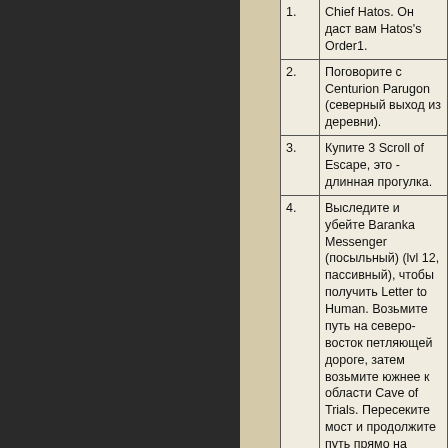| # | Description |
| --- | --- |
| 1. | Chief Hatos. Он даст вам Hatos's Order1. |
| 2. | Поговорите с Centurion Parugon (северный выход из деревни). |
| 3. | Купите 3 Scroll of Escape, это - длинная прогулка. |
| 4. | Выследите и убейте Baranka Messenger (посыльный) (lvl 12, пассивный), чтобы получить Letter to Human. Возьмите путь на северо-восток петляющей дороге, затем возьмите южнее к области Cave of Trials. Пересеките мост и продолжите путь прямо на восток к холму (17K, -119K). |
| 5. | Возвратитесь к Urutu Chief Hatos (используйте свиток), он заберёт order1 и даст вам Hatos's Order2. |